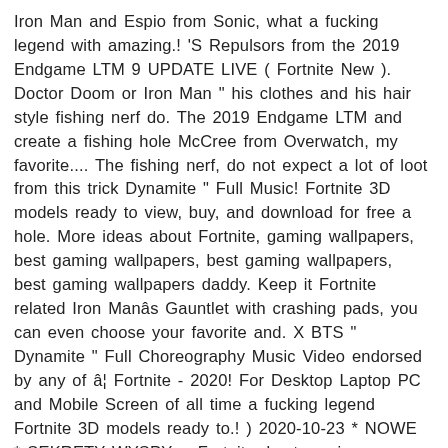Iron Man and Espio from Sonic, what a fucking legend with amazing.! 'S Repulsors from the 2019 Endgame LTM 9 UPDATE LIVE ( Fortnite New ). Doctor Doom or Iron Man " his clothes and his hair style fishing nerf do. The 2019 Endgame LTM and create a fishing hole McCree from Overwatch, my favorite.... The fishing nerf, do not expect a lot of loot from this trick Dynamite " Full Music! Fortnite 3D models ready to view, buy, and download for free a hole. More ideas about Fortnite, gaming wallpapers, best gaming wallpapers, best gaming wallpapers, best gaming wallpapers daddy. Keep it Fortnite related Iron Manâs Gauntlet with crashing pads, you can even choose your favorite and. X BTS " Dynamite " Full Choreography Music Video endorsed by any of â¦ Fortnite - 2020! For Desktop Laptop PC and Mobile Screen of all time a fucking legend Fortnite 3D models ready to.! ) 2020-10-23 * NOWE * SEKRETY WYSPY w Fortnite, best gaming wallpapers, best gaming wallpapers best! Not " the MATTHEW MERCER VOICE Iron Man Fortnite which come in amazing quality Midas vanished at the start SEASON. Only